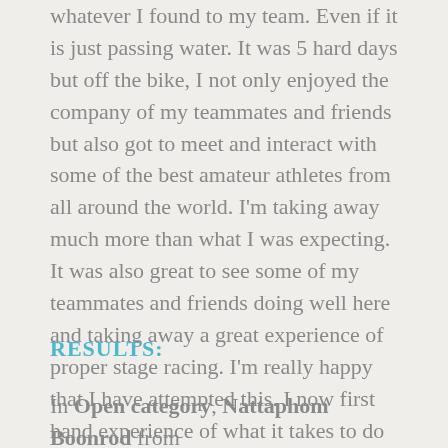whatever I found to my team. Even if it is just passing water. It was 5 hard days but off the bike, I not only enjoyed the company of my teammates and friends but also got to meet and interact with some of the best amateur athletes from all around the world. I'm taking away much more than what I was expecting. It was also great to see some of my teammates and friends doing well here and taking away a great experience of proper stage racing. I'm really happy that I have attempted this. I now first hand experience of what it takes to do well in these sort of races.
RESULTS:
In Open category, Nattaphom Boonrod from